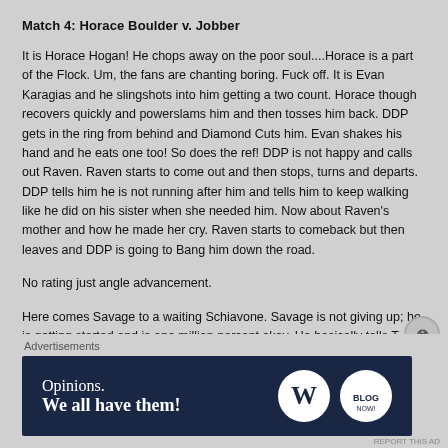Match 4: Horace Boulder v. Jobber
It is Horace Hogan! He chops away on the poor soul....Horace is a part of the Flock. Um, the fans are chanting boring. Fuck off. It is Evan Karagias and he slingshots into him getting a two count. Horace though recovers quickly and powerslams him and then tosses him back. DDP gets in the ring from behind and Diamond Cuts him. Evan shakes his hand and he eats one too! So does the ref! DDP is not happy and calls out Raven. Raven starts to come out and then stops, turns and departs. DDP tells him he is not running after him and tells him to keep walking like he did on his sister when she needed him. Now about Raven's mother and how he made her cry. Raven starts to comeback but then leaves and DDP is going to Bang him down the road.
No rating just angle advancement.
Here comes Savage to a waiting Schiavone. Savage is not giving up; he is getting started and is one million percent okay. He basically tells T...
Advertisements
[Figure (infographic): WordPress advertisement banner reading 'Opinions. We all have them!' with WordPress and Blog logos on dark navy background]